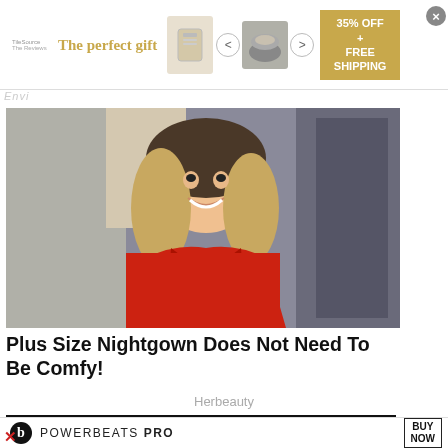[Figure (other): Advertisement banner: 'The perfect gift' with product images, navigation arrows, and '35% OFF + FREE SHIPPING' offer box]
[Figure (photo): Woman with blonde hair wearing a red top, smiling, photographed in a kitchen setting]
Plus Size Nightgown Does Not Need To Be Comfy!
Herbeauty
[Figure (other): Secondary dark banner/advertisement at bottom of content area]
[Figure (other): Powerbeats Pro advertisement banner at bottom: logo, 'POWERBEATS PRO' text, 'BUY NOW' button]